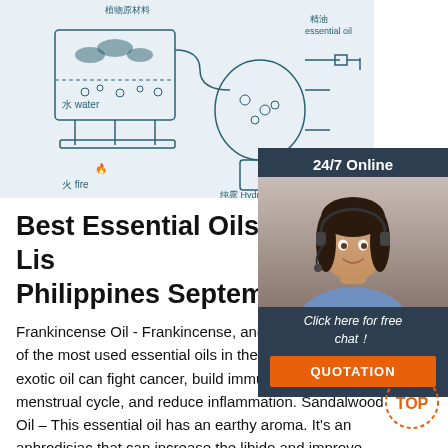[Figure (illustration): Diagram showing essential oil distillation process with Chinese labels: 植物原材料 (Plant raw materials), 水 water, 火 fire, 纯露 Hydrosol, 精油 essential oil]
[Figure (photo): 24/7 Online chat widget with a woman wearing a headset, with 'Click here for free chat!' text and QUOTATION button]
Best Essential Oils Price List Philippines September 2021
Frankincense Oil - Frankincense, and its relative... of the most used essential oils in the world. This warm and exotic oil can fight cancer, build immunity, regulate menstrual cycle, and reduce inflammation. Sandalwood Oil – This essential oil has an earthy aroma. It's an aphrodisiac that can increase the libido and improve ...